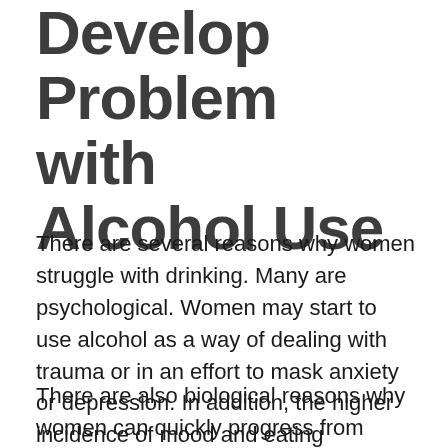Develop Problem with Alcohol Use
There are several reasons why women struggle with drinking. Many are psychological. Women may start to use alcohol as a way of dealing with trauma or in an effort to mask anxiety or depression. In addition, the higher incidence of mood and eating disorders among women may predispose them to addiction.
There are also biological reasons why women can quickly progress from unproblematic drinking to dependence. Women tend to be more vulnerable